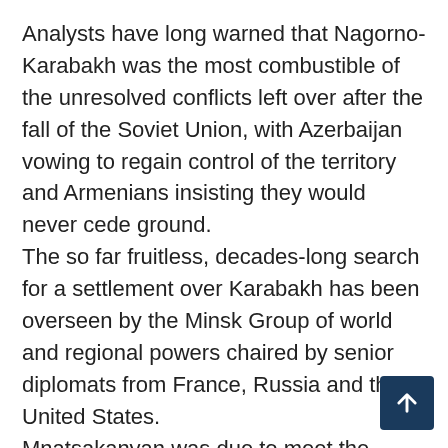Analysts have long warned that Nagorno-Karabakh was the most combustible of the unresolved conflicts left over after the fall of the Soviet Union, with Azerbaijan vowing to regain control of the territory and Armenians insisting they would never cede ground.
The so far fruitless, decades-long search for a settlement over Karabakh has been overseen by the Minsk Group of world and regional powers chaired by senior diplomats from France, Russia and the United States.
Mnatsakanyan was due to meet the Minsk Group co-chairs in Moscow after his discussions with Lavrov. Renewed fighting has stoked fears of a full-blown war embroiling Turkey, which strongly backs Azerbaijan and has been accused by Paris and Moscow of sending pro-Ankara Syrian militiamen to